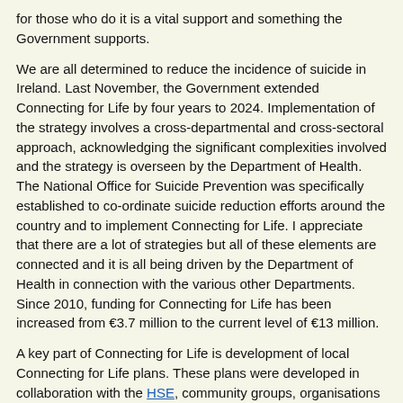for those who do it is a vital support and something the Government supports.
We are all determined to reduce the incidence of suicide in Ireland. Last November, the Government extended Connecting for Life by four years to 2024. Implementation of the strategy involves a cross-departmental and cross-sectoral approach, acknowledging the significant complexities involved and the strategy is overseen by the Department of Health. The National Office for Suicide Prevention was specifically established to co-ordinate suicide reduction efforts around the country and to implement Connecting for Life. I appreciate that there are a lot of strategies but all of these elements are connected and it is all being driven by the Department of Health in connection with the various other Departments. Since 2010, funding for Connecting for Life has been increased from €3.7 million to the current level of €13 million.
A key part of Connecting for Life is development of local Connecting for Life plans. These plans were developed in collaboration with the HSE, community groups, organisations and individuals who have been impacted by suicide who want to help and play their part. They are designed to reinforce social supports, follow-up care, tackle stigma at local level and support those bereaved by suicide. We have to always remember that it is not just the individuals involved but that many others are impacted by suicide.